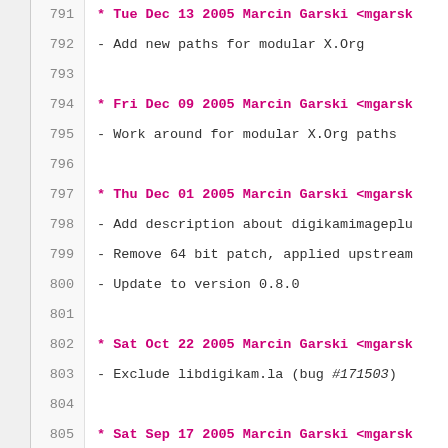791  * Tue Dec 13 2005 Marcin Garski <mgarsk
792  - Add new paths for modular X.Org
793
794  * Fri Dec 09 2005 Marcin Garski <mgarsk
795  - Work around for modular X.Org paths
796
797  * Thu Dec 01 2005 Marcin Garski <mgarsk
798  - Add description about digikamimageplu
799  - Remove 64 bit patch, applied upstream
800  - Update to version 0.8.0
801
802  * Sat Oct 22 2005 Marcin Garski <mgarsk
803  - Exclude libdigikam.la (bug #171503)
804
805  * Sat Sep 17 2005 Marcin Garski <mgarsk
806  - Change confusing warning about Big En
807
808  * Tue Sep 13 2005 Marcin Garski <mgarsk
809  - Spec improvements
810
811  * Mon Sep 12 2005 Marcin Garski <mgarsk
812  - Updated to version 0.7.4 & clean up t
813
814  * Sat Jun 26 2004 Marcin Garski <mgarsk